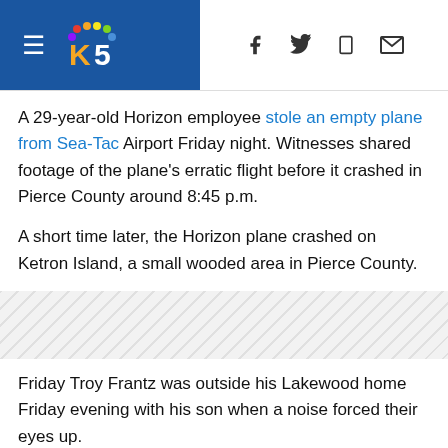KING5 News header with navigation and social icons
A 29-year-old Horizon employee stole an empty plane from Sea-Tac Airport Friday night. Witnesses shared footage of the plane's erratic flight before it crashed in Pierce County around 8:45 p.m.
A short time later, the Horizon plane crashed on Ketron Island, a small wooded area in Pierce County.
[Figure (other): Diagonal stripe decorative divider element]
Friday Troy Frantz was outside his Lakewood home Friday evening with his son when a noise forced their eyes up.
Frantz, who puts out a daily vlog on his YouTube page, The Halloween Hellmouth, already had his camera rolling.
"Oh my gosh, did you feel that? The house just rumbled!"